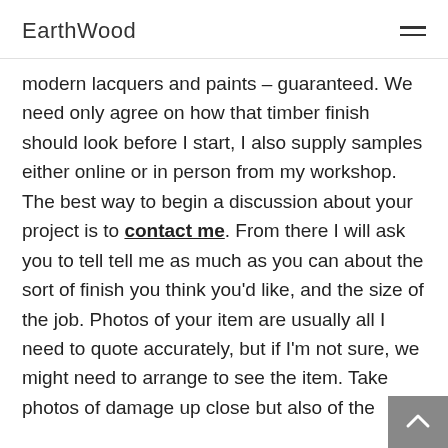EarthWood
modern lacquers and paints – guaranteed. We need only agree on how that timber finish should look before I start, I also supply samples either online or in person from my workshop. The best way to begin a discussion about your project is to contact me. From there I will ask you to tell tell me as much as you can about the sort of finish you think you'd like, and the size of the job. Photos of your item are usually all I need to quote accurately, but if I'm not sure, we might need to arrange to see the item. Take photos of damage up close but also of the